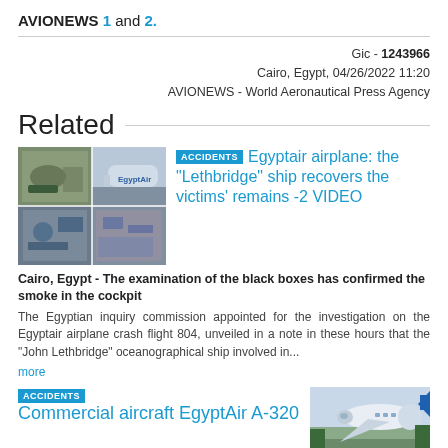AVIONEWS 1 and 2.
Gic - 1243966
Cairo, Egypt, 04/26/2022 11:20
AVIONEWS - World Aeronautical Press Agency
Related
[Figure (photo): Four-panel photo collage showing EgyptAir airplane crash debris and aircraft on tarmac]
ACCIDENTS Egyptair airplane: the "Lethbridge" ship recovers the victims' remains -2 VIDEO
Cairo, Egypt - The examination of the black boxes has confirmed the smoke in the cockpit
The Egyptian inquiry commission appointed for the investigation on the Egyptair airplane crash flight 804, unveiled in a note in these hours that the "John Lethbridge" oceanographical ship involved in...
more
ACCIDENTS Commercial aircraft EgyptAir A-320
[Figure (photo): Photo of EgyptAir commercial aircraft A-320 on tarmac with trees in background]